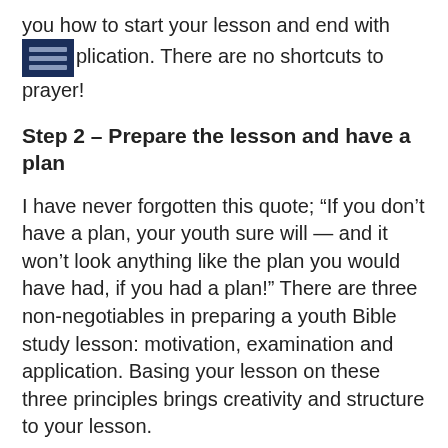you how to start your lesson and end with application. There are no shortcuts to prayer!
Step 2 – Prepare the lesson and have a plan
I have never forgotten this quote; “If you don’t have a plan, your youth sure will — and it won’t look anything like the plan you would have had, if you had a plan!” There are three non-negotiables in preparing a youth Bible study lesson: motivation, examination and application. Basing your lesson on these three principles brings creativity and structure to your lesson.
Step 3 – Prepare for the needs of your students
I am amazed how many well-intentioned youth